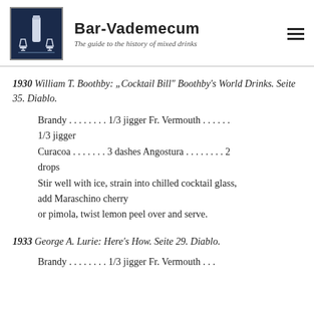Bar-Vademecum — The guide to the history of mixed drinks
1930 William T. Boothby: „Cocktail Bill" Boothby's World Drinks. Seite 35. Diablo.
Brandy . . . . . . . . 1/3 jigger Fr. Vermouth . . . . . . 1/3 jigger
Curacoa . . . . . . . 3 dashes Angostura . . . . . . . . 2 drops
Stir well with ice, strain into chilled cocktail glass, add Maraschino cherry
or pimola, twist lemon peel over and serve.
1933 George A. Lurie: Here's How. Seite 29. Diablo.
Brandy . . . . . . . . 1/3 jigger Fr. Vermouth . . .